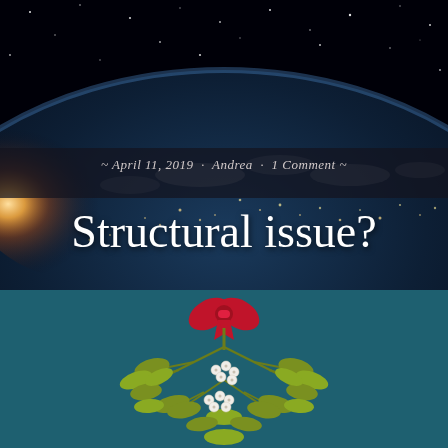[Figure (photo): Aerial/space view of Earth at night with city lights visible and a sunrise/sunburst on the left horizon against a starry space background]
~ April 11, 2019 · Andrea · 1 Comment ~
Structural issue?
[Figure (illustration): Illustration of Christmas mistletoe with green leaves, white berries, and a red bow on a dark teal background]